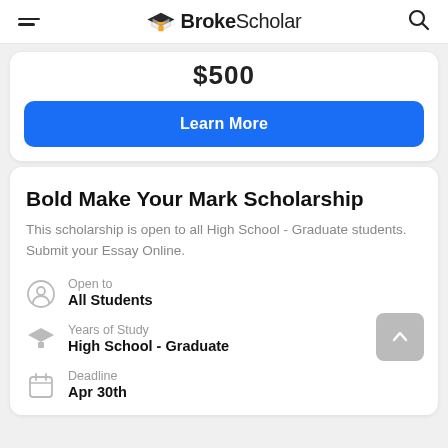BrokeScholar
$500
Learn More
Bold Make Your Mark Scholarship
This scholarship is open to all High School - Graduate students. Submit your Essay Online.
Open to
All Students
Years of Study
High School - Graduate
Deadline
Apr 30th